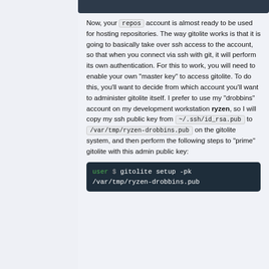[Figure (screenshot): Dark top bar from a code/terminal block above (partially visible)]
Now, your repos account is almost ready to be used for hosting repositories. The way gitolite works is that it is going to basically take over ssh access to the account, so that when you connect via ssh with git, it will perform its own authentication. For this to work, you will need to enable your own "master key" to access gitolite. To do this, you'll want to decide from which account you'll want to administer gitolite itself. I prefer to use my "drobbins" account on my development workstation ryzen, so I will copy my ssh public key from ~/.ssh/id_rsa.pub to /var/tmp/ryzen-drobbins.pub on the gitolite system, and then perform the following steps to "prime" gitolite with this admin public key:
[Figure (screenshot): Dark terminal code block showing: user $ gitolite setup -pk /var/tmp/ryzen-drobbins.pub]